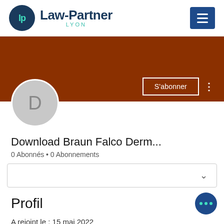[Figure (logo): Law-Partner Lyon logo with circular LP emblem in navy and teal, and hamburger menu icon in blue]
[Figure (photo): Dark brown/rust colored banner with a Subscribe button and three-dots menu at bottom right]
[Figure (illustration): Gray circle avatar with letter D]
Download Braun Falco Derm...
0 Abonnés • 0 Abonnements
[Figure (other): Dropdown box with chevron]
Profil
A rejoint le : 15 mai 2022